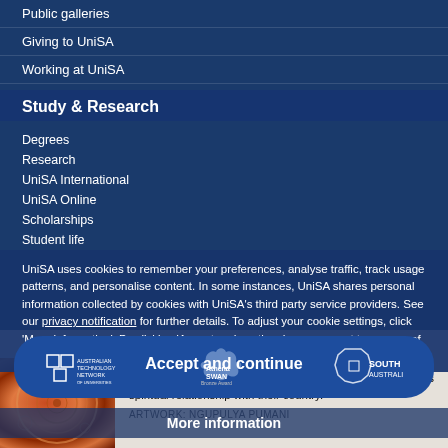Public galleries
Giving to UniSA
Working at UniSA
Study & Research
Degrees
Research
UniSA International
UniSA Online
Scholarships
Student life
UniSA uses cookies to remember your preferences, analyse traffic, track usage patterns, and personalise content. In some instances, UniSA shares personal information collected by cookies with UniSA's third party service providers. See our privacy notification for further details. To adjust your cookie settings, click 'More information'. By clicking 'Accept and continue', you consent to our use of cookies.
[Figure (logo): Australian Technology Network logo, Athena SWAN Bronze Award logo, South Australia logo]
Accept and continue
UniSA respects the Kaurna, Boandik and Barngarla peoples spiritual relationship with their country.
ARTWORK: NGUPULYA PUMANI